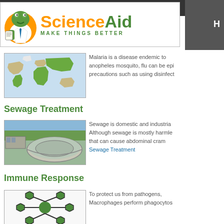[Figure (logo): ScienceAid logo with cartoon frog scientist and text 'ScienceAid MAKE THINGS BETTER']
[Figure (map): World map showing malaria-endemic regions highlighted in green/tan]
Malaria is a disease endemic to... anopheles mosquito, flu can be epi... precautions such as using disinfect...
Sewage Treatment
[Figure (photo): Aerial photo of circular sewage treatment tanks]
Sewage is domestic and industria... Although sewage is mostly harmle... that can cause abdominal cram...
Sewage Treatment
Immune Response
[Figure (illustration): Scientific diagram of immune response molecules with green circular nodes connected by lines]
To protect us from pathogens,... Macrophages perform phagocytos...